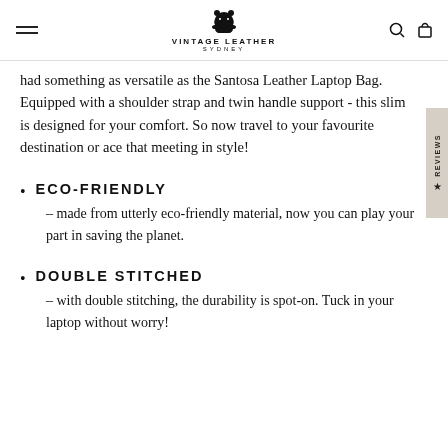Vintage Leather Sydney
had something as versatile as the Santosa Leather Laptop Bag. Equipped with a shoulder strap and twin handle support - this slim is designed for your comfort. So now travel to your favourite destination or ace that meeting in style!
ECO-FRIENDLY – made from utterly eco-friendly material, now you can play your part in saving the planet.
DOUBLE STITCHED – with double stitching, the durability is spot-on. Tuck in your laptop without worry!